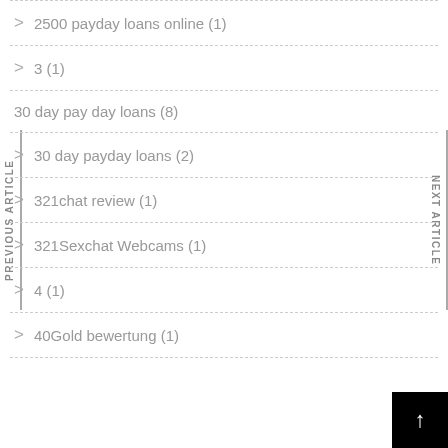2500 payday loans online (1)
3 (1)
30 day pay day loans (8)
30 day payday loans (2)
321chat review (1)
321Sexchat Webcams (1)
4 (1)
40Gold bewertung (1)